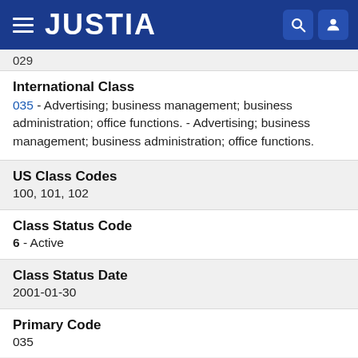JUSTIA
029
International Class
035 - Advertising; business management; business administration; office functions. - Advertising; business management; business administration; office functions.
US Class Codes
100, 101, 102
Class Status Code
6 - Active
Class Status Date
2001-01-30
Primary Code
035